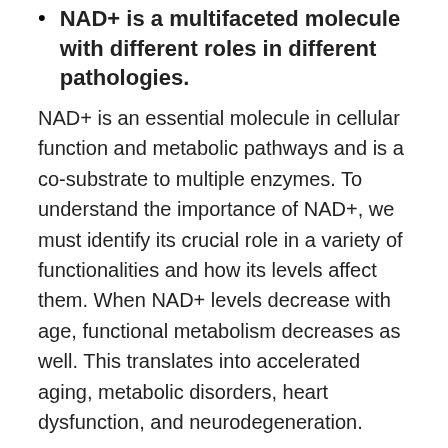NAD+ is a multifaceted molecule with different roles in different pathologies.
NAD+ is an essential molecule in cellular function and metabolic pathways and is a co-substrate to multiple enzymes. To understand the importance of NAD+, we must identify its crucial role in a variety of functionalities and how its levels affect them. When NAD+ levels decrease with age, functional metabolism decreases as well. This translates into accelerated aging, metabolic disorders, heart dysfunction, and neurodegeneration.
Studies, where boosting NAD+ availability was investigated in rodents, either by diet or by supplementing precursors of NAD+ biosynthesis, have shown promising physiological results. These